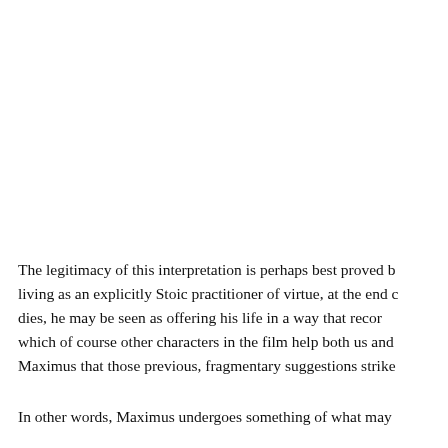The legitimacy of this interpretation is perhaps best proved b living as an explicitly Stoic practitioner of virtue, at the end c dies, he may be seen as offering his life in a way that recor which of course other characters in the film help both us and Maximus that those previous, fragmentary suggestions strike
In other words, Maximus undergoes something of what may